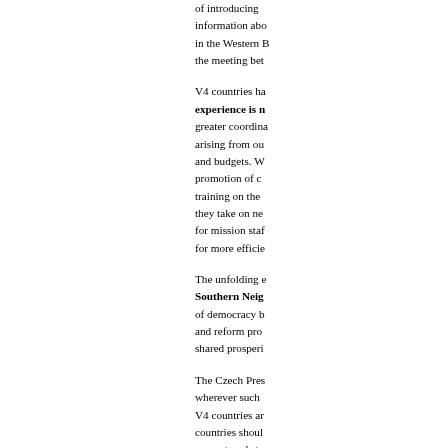of introducing information about in the Western B the meeting bet
V4 countries ha experience is n greater coordina arising from ou and budgets. W promotion of c training on the they take on ne for mission staf for more efficie
The unfolding e Southern Neig of democracy b and reform pro shared prosperi
The Czech Pres wherever such V4 countries ar countries shoul concrete substa document whe